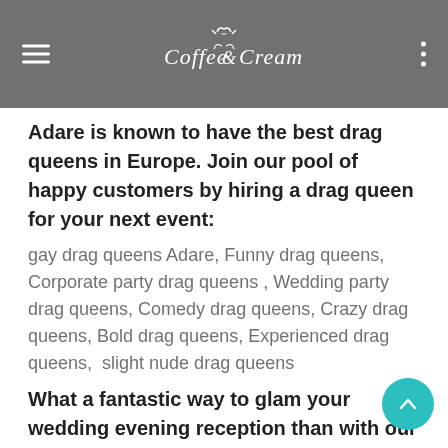Coffee & Cream
Adare is known to have the best drag queens in Europe. Join our pool of happy customers by hiring a drag queen for your next event:
gay drag queens Adare, Funny drag queens, Corporate party drag queens , Wedding party drag queens, Comedy drag queens, Crazy drag queens, Bold drag queens, Experienced drag queens,  slight nude drag queens
What a fantastic way to glam your wedding evening reception than with our sexy bunny girls ready to dress and entertain your guests at your beck and call: Adare black bunny girls red-haired bunny girls Adare, Adare Naughty bunn…